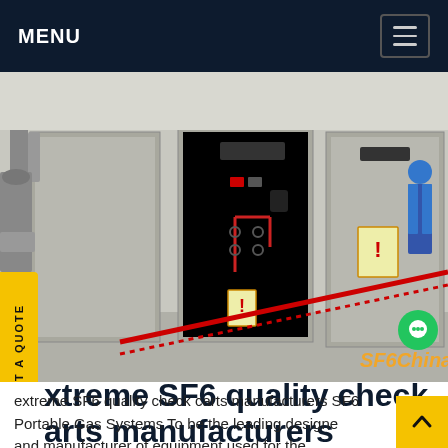MENU
[Figure (photo): Industrial SF6 gas equipment control panels in a facility, with a worker in blue protective gear visible in the background. Red safety barrier tape and warning signs visible. Watermark reads 'SF6China'.]
extreme SF6 quality check carts manufacturers
extreme SF6 quality check carts manufacturers SF6 Portable Gas Systems To be the leading designer and manufacturer of equipment used for the